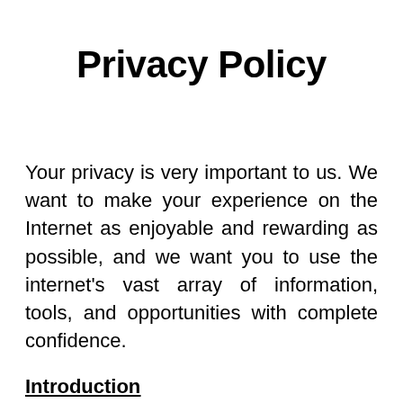Privacy Policy
Your privacy is very important to us. We want to make your experience on the Internet as enjoyable and rewarding as possible, and we want you to use the internet's vast array of information, tools, and opportunities with complete confidence.
Introduction
Our company collects information in different ways from Visitors. Subscribe and...